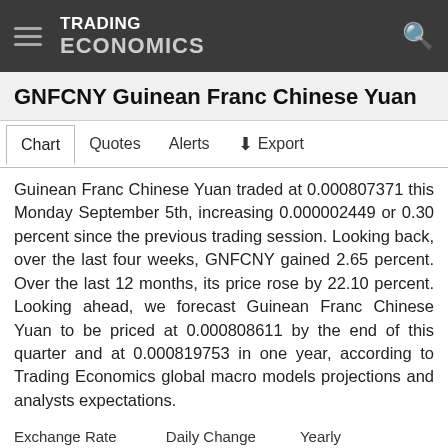TRADING ECONOMICS
GNFCNY Guinean Franc Chinese Yuan
Chart  Quotes  Alerts  ↓ Export
Guinean Franc Chinese Yuan traded at 0.000807371 this Monday September 5th, increasing 0.000002449 or 0.30 percent since the previous trading session. Looking back, over the last four weeks, GNFCNY gained 2.65 percent. Over the last 12 months, its price rose by 22.10 percent. Looking ahead, we forecast Guinean Franc Chinese Yuan to be priced at 0.000808611 by the end of this quarter and at 0.000819753 in one year, according to Trading Economics global macro models projections and analysts expectations.
Exchange Rate: 0.000807371, Daily Change: ▲ 0.30%, Yearly: ▲ 22.10%